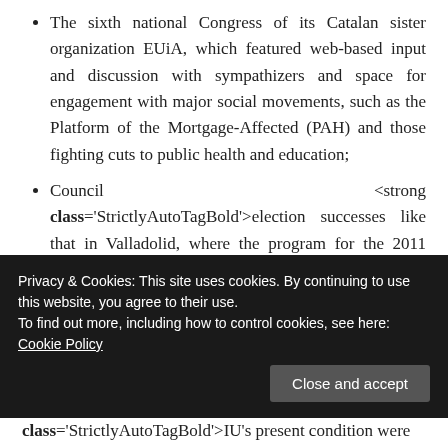The sixth national Congress of its Catalan sister organization EUiA, which featured web-based input and discussion with sympathizers and space for engagement with major social movements, such as the Platform of the Mortgage-Affected (PAH) and those fighting cuts to public health and education;
Council <strong class='StrictlyAutoTagBold'>election successes like that in Valladolid, where the program for the 2011 council elections was decided by open meetings including <strong class='StrictlyAutoTagBold'>IU sympathizers, resulting in a doubling of <strong class='StrictlyAutoTagBold'>IU's vote, an increase in its seats from one to three and a <strong class='StrictlyAutoTagBold'>class='StrictlyAutoTagBold'>IU's present condition were
Privacy & Cookies: This site uses cookies. By continuing to use this website, you agree to their use. To find out more, including how to control cookies, see here: Cookie Policy